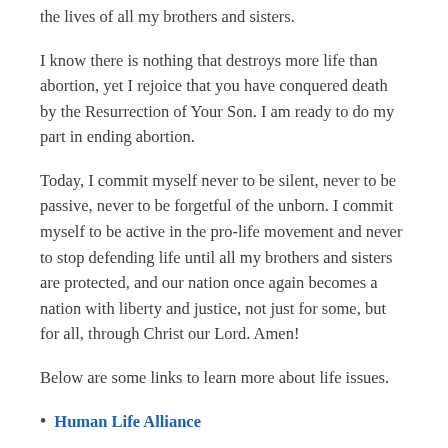the lives of all my brothers and sisters.
I know there is nothing that destroys more life than abortion, yet I rejoice that you have conquered death by the Resurrection of Your Son. I am ready to do my part in ending abortion.
Today, I commit myself never to be silent, never to be passive, never to be forgetful of the unborn. I commit myself to be active in the pro-life movement and never to stop defending life until all my brothers and sisters are protected, and our nation once again becomes a nation with liberty and justice, not just for some, but for all, through Christ our Lord. Amen!
Below are some links to learn more about life issues.
Human Life Alliance